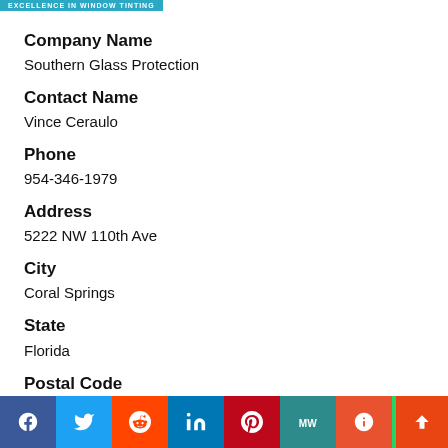EXCELLENCE IN WINDOW TINTING
Company Name
Southern Glass Protection
Contact Name
Vince Ceraulo
Phone
954-346-1979
Address
5222 NW 110th Ave
City
Coral Springs
State
Florida
Postal Code
33076